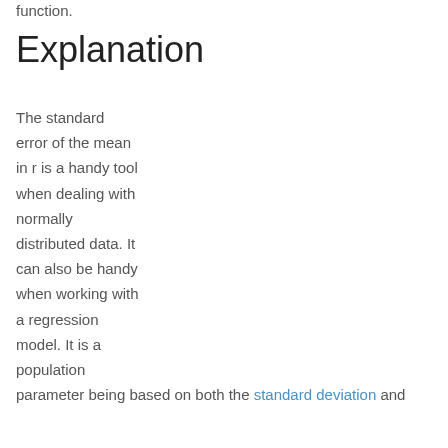function.
Explanation
The standard error of the mean in r is a handy tool when dealing with normally distributed data. It can also be handy when working with a regression model. It is a population parameter being based on both the standard deviation and